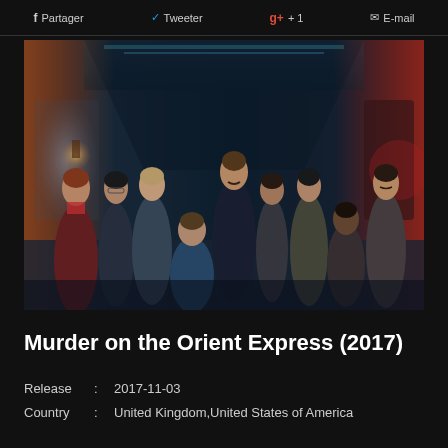f Partager   Tweeter   g+ +1   E-mail
[Figure (photo): Movie poster/promotional image for Murder on the Orient Express (2017) showing the cast of characters standing in a train corridor with cinematic blue and red lighting]
Murder on the Orient Express (2017)
Release : 2017-11-03
Country : United Kingdom,United States of America